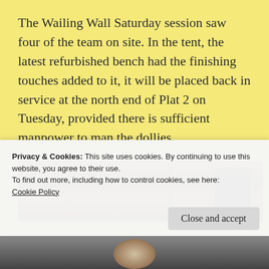The Wailing Wall Saturday session saw four of the team on site. In the tent, the latest refurbished bench had the finishing touches added to it, it will be placed back in service at the north end of Plat 2 on Tuesday, provided there is sufficient manpower to man the dollies.
[Figure (photo): Close-up photograph of a wooden workbench being refurbished, showing wooden planks, clamps, and carpentry tools in a workshop setting.]
Privacy & Cookies: This site uses cookies. By continuing to use this website, you agree to their use.
To find out more, including how to control cookies, see here: Cookie Policy
[Figure (photo): Partial photograph visible at the bottom of the page, appears to show another view of the workshop or bench.]